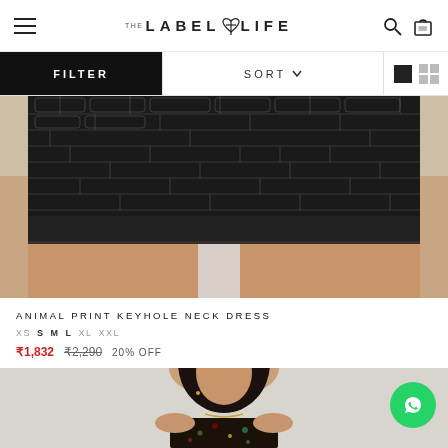THE LABEL LIFE
FILTER
SORT
[Figure (photo): Close-up of lower half of woman wearing an animal print keyhole neck dress with a black and white croc/snake pattern on a light grey background.]
ANIMAL PRINT KEYHOLE NECK DRESS
XS  S  M  L  XL  XXL
₹1,832   ₹2,290  20% OFF
[Figure (photo): Upper body of a young woman with black hair wearing a dark floral dress, with earrings and a necklace, on a light background.]